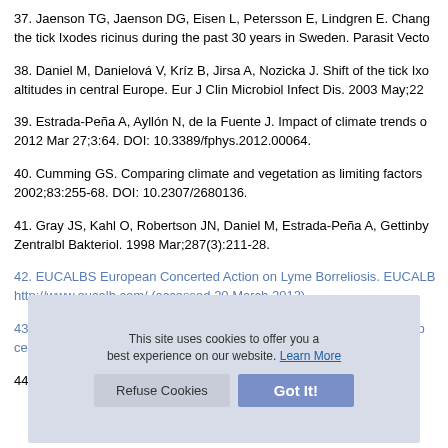37. Jaenson TG, Jaenson DG, Eisen L, Petersson E, Lindgren E. Chang the tick Ixodes ricinus during the past 30 years in Sweden. Parasit Vecto
38. Daniel M, Danielová V, Kríz B, Jirsa A, Nozicka J. Shift of the tick Ixo altitudes in central Europe. Eur J Clin Microbiol Infect Dis. 2003 May;22
39. Estrada-Peña A, Ayllón N, de la Fuente J. Impact of climate trends o 2012 Mar 27;3:64. DOI: 10.3389/fphys.2012.00064.
40. Cumming GS. Comparing climate and vegetation as limiting factors 2002;83:255-68. DOI: 10.2307/2680136.
41. Gray JS, Kahl O, Robertson JN, Daniel M, Estrada-Peña A, Gettinby Zentralbl Bakteriol. 1998 Mar;287(3):211-28.
42. EUCALBS European Concerted Action on Lyme Borreliosis. EUCALB http://www.eucalb.com/ (accessed 20 March 2013).
43. Pascucci I, Cammà C. Lyme disease and the detection of Borrelia b central Italy. Vet Ital. 2010 Apr-Jun;46(2):173-80.
44. HILYSENS. Background. Highly sensitive and specific low-cost lab